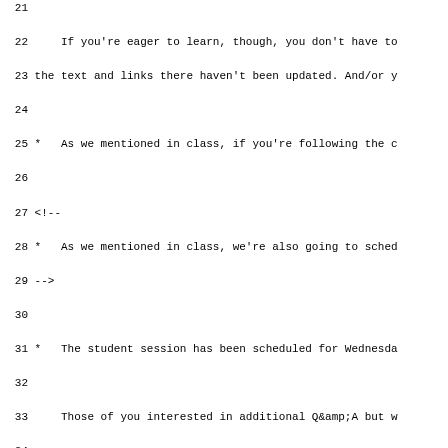Lines 21-52 of a source code/document file showing educational content about student sessions, homework assignments, and programming resources.